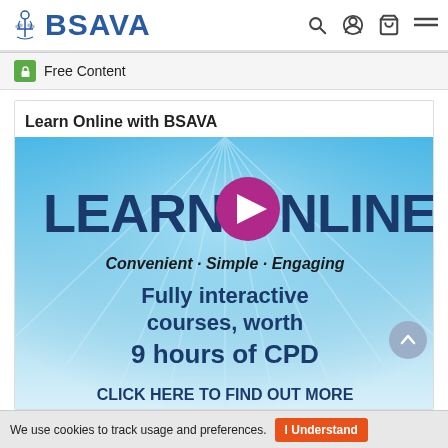BSAVA
Free Content
Learn Online with BSAVA
[Figure (illustration): BSAVA Learn Online banner with text: LEARN ONLINE, Convenient · Simple · Engaging, Fully interactive courses, worth 9 hours of CPD, CLICK HERE TO FIND OUT MORE]
We use cookies to track usage and preferences.   I Understand